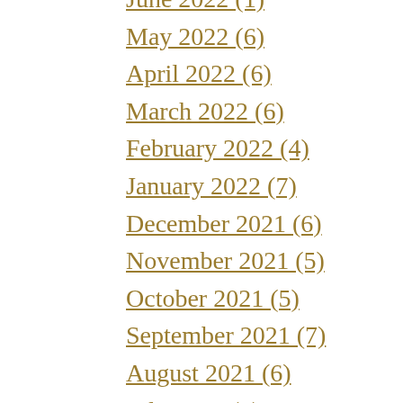June 2022 (1)
May 2022 (6)
April 2022 (6)
March 2022 (6)
February 2022 (4)
January 2022 (7)
December 2021 (6)
November 2021 (5)
October 2021 (5)
September 2021 (7)
August 2021 (6)
July 2021 (6)
June 2021 (5)
May 2021 (6)